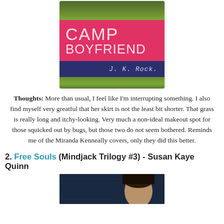[Figure (illustration): Book cover of 'Camp Boyfriend' by J. K. Rock. Pink/red central band with large white text reading 'CAMP' and 'BOYFRIEND'. Dark navy band at the bottom with cursive author name 'J. K. Rock'. Background is grass.]
Thoughts: More than usual, I feel like I'm interrupting something. I also find myself very greatful that her skirt is not the least bit shorter. That grass is really long and itchy-looking. Very much a non-ideal makeout spot for those squicked out by bugs, but those two do not seem bothered. Reminds me of the Miranda Kenneally covers, only they did this better.
2. Free Souls (Mindjack Trilogy #3) - Susan Kaye Quinn
[Figure (photo): Partial book cover showing a close-up of a person's face/head with dark hair against a dark blue digital/tech background.]